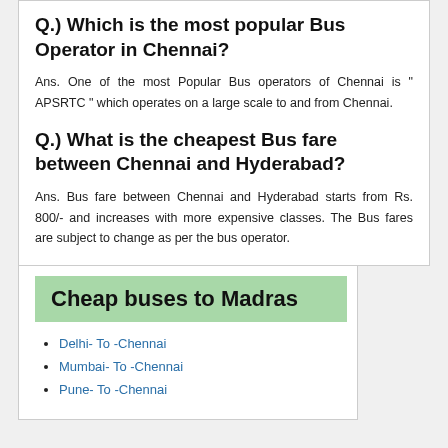Q.) Which is the most popular Bus Operator in Chennai?
Ans. One of the most Popular Bus operators of Chennai is " APSRTC " which operates on a large scale to and from Chennai.
Q.) What is the cheapest Bus fare between Chennai and Hyderabad?
Ans. Bus fare between Chennai and Hyderabad starts from Rs. 800/- and increases with more expensive classes. The Bus fares are subject to change as per the bus operator.
Cheap buses to Madras
Delhi- To -Chennai
Mumbai- To -Chennai
Pune- To -Chennai